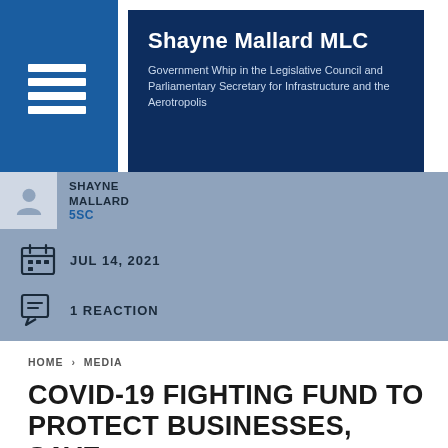[Figure (logo): Shayne Mallard MLC government website header banner with blue sidebar containing hamburger menu icon and dark navy card with name and title]
Shayne Mallard MLC
Government Whip in the Legislative Council and Parliamentary Secretary for Infrastructure and the Aerotropolis
SHAYNE MALLARD
5SC
JUL 14, 2021
1 REACTION
HOME > MEDIA
COVID-19 FIGHTING FUND TO PROTECT BUSINESSES, SAVE